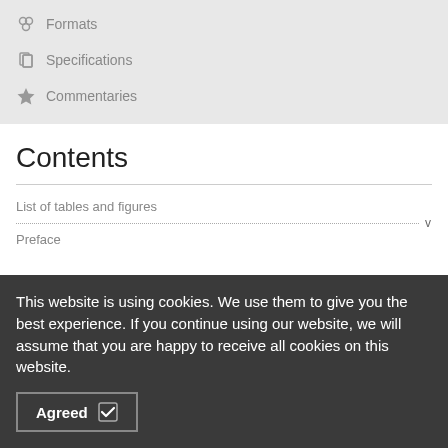Formats
Specifications
Commentaries
Contents
List of tables and figures
v
Preface
This website is using cookies. We use them to give you the best experience. If you continue using our website, we will assume that you are happy to receive all cookies on this website.
Agreed